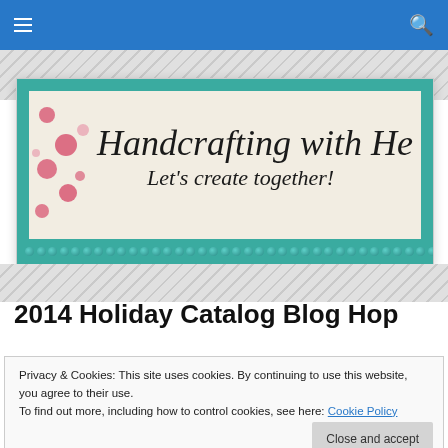Navigation bar with hamburger menu and search icon
[Figure (illustration): Handcrafting with Heather blog header banner. Teal/turquoise decorative background with a cream center panel. Pink polka dots scattered on left side. Cursive text reads 'Handcrafting with Heather' and 'Let's create together!' A row of teal beads runs along the bottom.]
2014 Holiday Catalog Blog Hop
Privacy & Cookies: This site uses cookies. By continuing to use this website, you agree to their use.
To find out more, including how to control cookies, see here: Cookie Policy
Close and accept